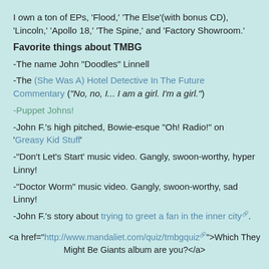I own a ton of EPs, 'Flood,' 'The Else'(with bonus CD), 'Lincoln,' 'Apollo 18,' 'The Spine,' and 'Factory Showroom.'
Favorite things about TMBG
-The name John "Doodles" Linnell
-The (She Was A) Hotel Detective In The Future Commentary ("No, no, I... I am a girl. I'm a girl.")
-Puppet Johns!
-John F.'s high pitched, Bowie-esque "Oh! Radio!" on 'Greasy Kid Stuff'
-"Don't Let's Start' music video. Gangly, swoon-worthy, hyper Linny!
-"Doctor Worm" music video. Gangly, swoon-worthy, sad Linny!
-John F.'s story about trying to greet a fan in the inner city.
<a href="http://www.mandaliet.com/quiz/tmbgquiz">Which They Might Be Giants album are you?</a>